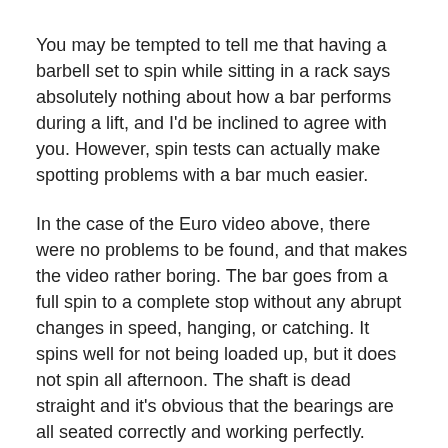You may be tempted to tell me that having a barbell set to spin while sitting in a rack says absolutely nothing about how a bar performs during a lift, and I'd be inclined to agree with you. However, spin tests can actually make spotting problems with a bar much easier.
In the case of the Euro video above, there were no problems to be found, and that makes the video rather boring. The bar goes from a full spin to a complete stop without any abrupt changes in speed, hanging, or catching. It spins well for not being loaded up, but it does not spin all afternoon. The shaft is dead straight and it's obvious that the bearings are all seated correctly and working perfectly. Yeah, pretty boring. For $700 it better be boring.
The only real unknown in terms of the Euro's rotation is how well the bearings will hold up over time. I don't mean will it still spin a year from now, I mean will it still spin 10 or 20 years from now. Unfortunately I cannot test for that, I just have to put my faith